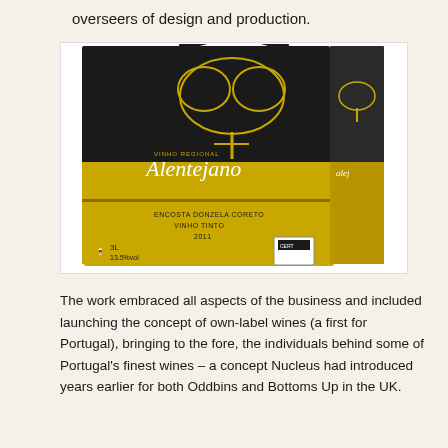overseers of design and production.
[Figure (photo): A bag-in-box wine package with black top and gold/yellow bottom. The box features an illustration of a tree and the brand name 'Alentejano' in cursive script. Text on the box reads 'VINHO REGIONAL', 'Alentejano', 'uma adega pingo doce', 'ENCOSTA DONZELA CORETO VINHO TINTO 2011'. Bottom left shows '3L' and '13.5% vol'.]
The work embraced all aspects of the business and included launching the concept of own-label wines (a first for Portugal), bringing to the fore, the individuals behind some of Portugal's finest wines – a concept Nucleus had introduced years earlier for both Oddbins and Bottoms Up in the UK.